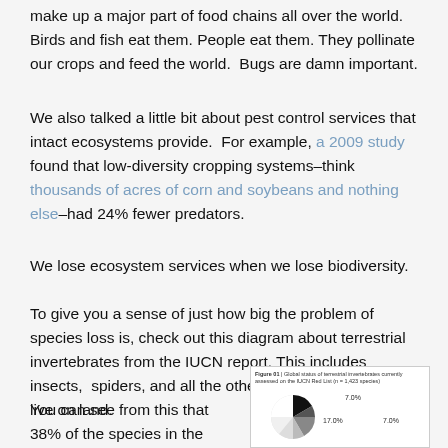make up a major part of food chains all over the world. Birds and fish eat them. People eat them. They pollinate our crops and feed the world.  Bugs are damn important.
We also talked a little bit about pest control services that intact ecosystems provide.  For example, a 2009 study found that low-diversity cropping systems–think thousands of acres of corn and soybeans and nothing else–had 24% fewer predators.
We lose ecosystem services when we lose biodiversity.
To give you a sense of just how big the problem of species loss is, check out this diagram about terrestrial invertebrates from the IUCN report. This includes insects,  spiders, and all the other spineless things that live on land.
You can see from this that 38% of the species in the IUCN database are
[Figure (pie-chart): Figure 01 – Global status of terrestrial invertebrates currently assessed on the IUCN Red List (n = 1,423 species). Pie chart showing proportions including labels 7.0%, 17.0%, 7.0%.]